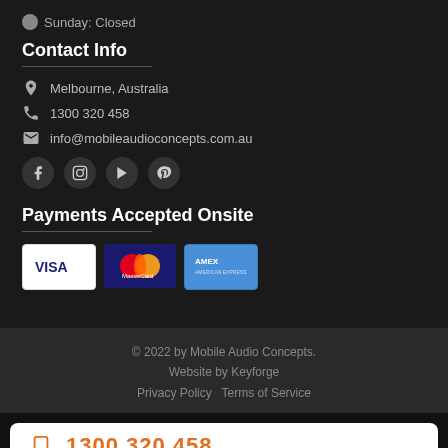Sunday: Closed
Contact Info
Melbourne, Australia
1300 320 458
info@mobileaudioconcepts.com.au
[Figure (other): Social media icons: Facebook, Instagram, YouTube, Pinterest]
Payments Accepted Onsite
[Figure (other): Payment card logos: VISA, Mastercard, AMEX]
© 2022 by Mobile Audio Concepts. Website by Keyforge Privacy Policy Terms of Service
1300 320 458